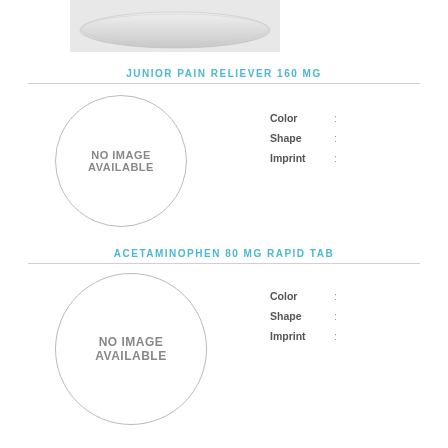[Figure (photo): Photo of a white oblong/caplet shaped pill on a white background]
JUNIOR PAIN RELIEVER 160 MG
[Figure (illustration): Circle placeholder showing NO IMAGE AVAILABLE for Junior Pain Reliever 160 MG]
Color : 
Shape : 
Imprint :
ACETAMINOPHEN 80 MG RAPID TAB
[Figure (illustration): Circle placeholder showing NO IMAGE AVAILABLE for Acetaminophen 80 MG Rapid Tab]
Color : 
Shape : 
Imprint :